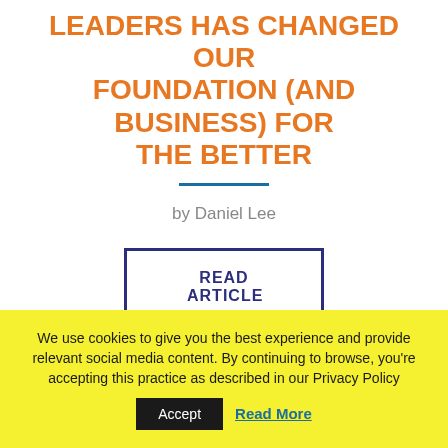LEADERS HAS CHANGED OUR FOUNDATION (AND BUSINESS) FOR THE BETTER
by Daniel Lee
READ ARTICLE
We use cookies to give you the best experience and provide relevant social media content. By continuing to browse, you're accepting this practice as described in our Privacy Policy
Accept
Read More